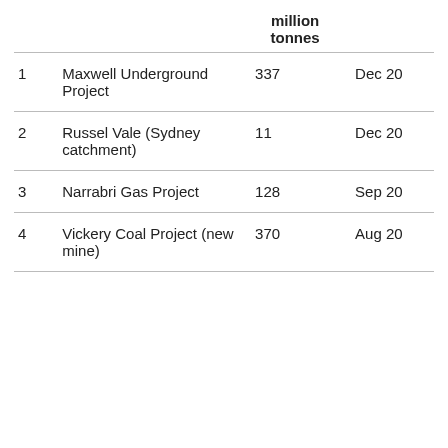|  |  | million tonnes |  |
| --- | --- | --- | --- |
| 1 | Maxwell Underground Project | 337 | Dec 20 |
| 2 | Russel Vale (Sydney catchment) | 11 | Dec 20 |
| 3 | Narrabri Gas Project | 128 | Sep 20 |
| 4 | Vickery Coal Project (new mine) | 370 | Aug 20 |